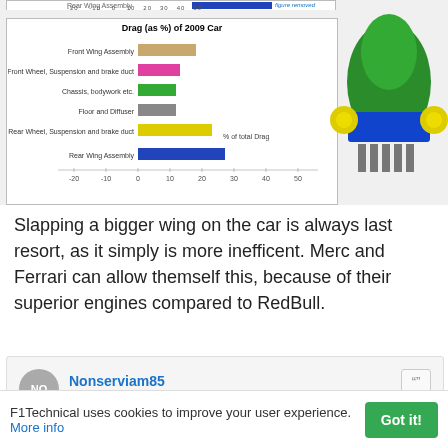[Figure (bar-chart): Drag (as %) of 2009 Car]
[Figure (photo): 3D render of a Formula 1 car rear assembly in green, blue, yellow and grey colors]
Slapping a bigger wing on the car is always last resort, as it simply is more inefficent. Merc and Ferrari can allow themself this, because of their superior engines compared to RedBull.
Nonserviam85
15 Jan 2019, 19:19
F1Technical uses cookies to improve your user experience. More info